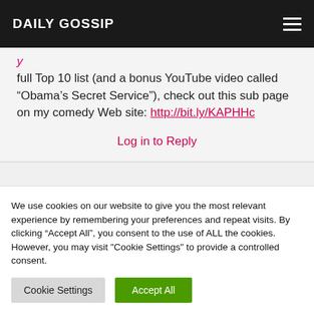DAILY GOSSIP
full Top 10 list (and a bonus YouTube video called “Obama’s Secret Service”), check out this sub page on my comedy Web site: http://bit.ly/KAPHHc
Log in to Reply
We use cookies on our website to give you the most relevant experience by remembering your preferences and repeat visits. By clicking “Accept All”, you consent to the use of ALL the cookies. However, you may visit "Cookie Settings" to provide a controlled consent.